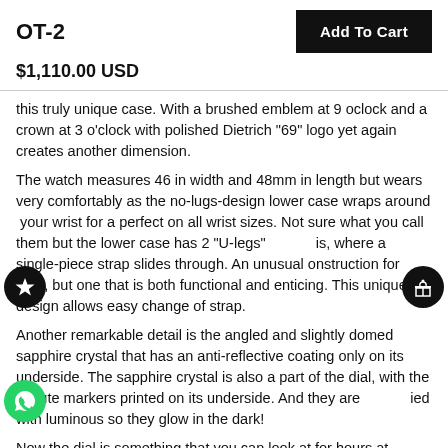OT-2
Add To Cart
$1,110.00 USD
this truly unique case. With a brushed emblem at 9 oclock and a crown at 3 o'clock with polished Dietrich "69" logo yet again creates another dimension.
The watch measures 46 in width and 48mm in length but wears very comfortably as the no-lugs-design lower case wraps around  your wrist for a perfect on all wrist sizes. Not sure what you call them but the lower case has 2 "U-legs" is, where a single-piece strap slides through. An unusual onstruction for sure, but one that is both functional and enticing. This unique design allows easy change of strap.
Another remarkable detail is the angled and slightly domed sapphire crystal that has an anti-reflective coating only on its underside. The sapphire crystal is also a part of the dial, with the minute markers printed on its underside. And they are ied with luminous so they glow in the dark!
Now the dial is something that you can look at for hours at